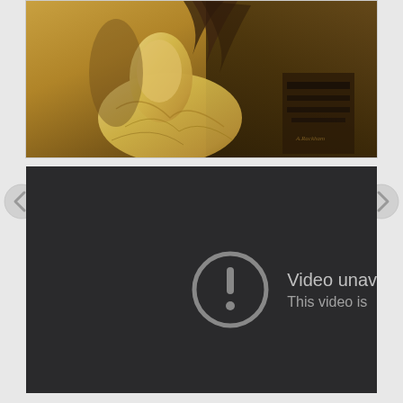[Figure (illustration): Classical artwork illustration showing a figure in a golden/amber colored flowing dress or robe, with decorative architectural elements in the background. The image has warm sepia/brown tones typical of an old master drawing or engraving.]
[Figure (screenshot): Dark video player showing an unavailable video error. An exclamation mark inside a circle icon is shown on the left side, with text 'Video unav...' on the first line and 'This video is' on the second line, cut off by the right edge.]